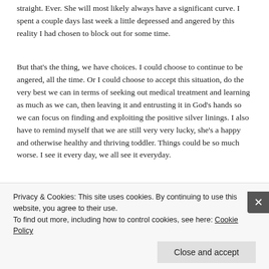surgeons my daughter's spine has a very slim chance of ever being straight. Ever. She will most likely always have a significant curve. I spent a couple days last week a little depressed and angered by this reality I had chosen to block out for some time.
But that's the thing, we have choices. I could choose to continue to be angered, all the time. Or I could choose to accept this situation, do the very best we can in terms of seeking out medical treatment and learning as much as we can, then leaving it and entrusting it in God's hands so we can focus on finding and exploiting the positive silver linings. I also have to remind myself that we are still very very lucky, she's a happy and otherwise healthy and thriving toddler. Things could be so much worse. I see it every day, we all see it everyday.
Privacy & Cookies: This site uses cookies. By continuing to use this website, you agree to their use.
To find out more, including how to control cookies, see here: Cookie Policy
Close and accept